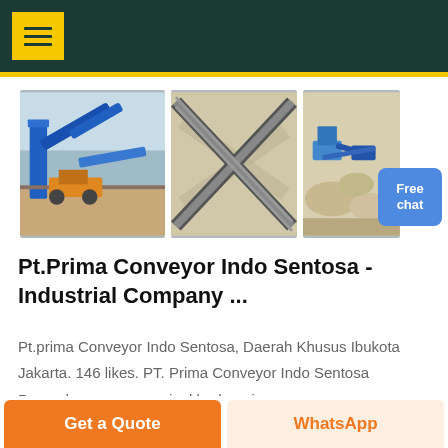[Figure (photo): Three industrial photos showing conveyor belt machinery and aggregate/mining equipment at industrial sites]
Pt.Prima Conveyor Indo Sentosa - Industrial Company ...
Pt.prima Conveyor Indo Sentosa, Daerah Khusus Ibukota Jakarta. 146 likes. PT. Prima Conveyor Indo Sentosa Perusahaan yang menjual berbagai macam spare...
Get a Quote | WhatsApp